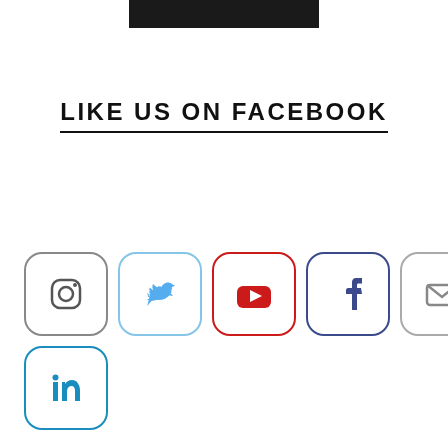[Figure (illustration): Partial bottom view of a black circular object (cup/hat) visible at very top of page]
LIKE US ON FACEBOOK
[Figure (infographic): Row of social media icon buttons: Instagram, Twitter, YouTube, Facebook, Email, Reddit, RSS; second row: LinkedIn]